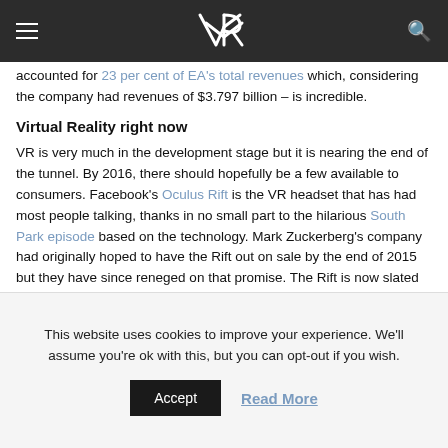VR website header with hamburger menu, VR logo, and search icon
accounted for 23 per cent of EA's total revenues which, considering the company had revenues of $3.797 billion – is incredible.
Virtual Reality right now
VR is very much in the development stage but it is nearing the end of the tunnel. By 2016, there should hopefully be a few available to consumers. Facebook's Oculus Rift is the VR headset that has had most people talking, thanks in no small part to the hilarious South Park episode based on the technology. Mark Zuckerberg's company had originally hoped to have the Rift out on sale by the end of 2015 but they have since reneged on that promise. The Rift is now slated for a release within the first three months of 2016.
This website uses cookies to improve your experience. We'll assume you're ok with this, but you can opt-out if you wish. Accept Read More